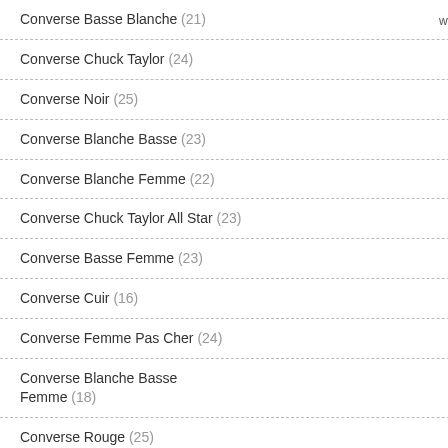www.thesoulfood.
Converse Basse Blanche (21)
Converse Chuck Taylor (24)
Converse Noir (25)
Converse Blanche Basse (23)
Converse Blanche Femme (22)
Converse Chuck Taylor All Star (23)
Converse Basse Femme (23)
Converse Cuir (16)
Converse Femme Pas Cher (24)
Converse Blanche Basse Femme (18)
Converse Rouge (25)
Converse Solde (17)
Converse Bordeaux (24)
Converse Basse Blanche Femme (22)
Converse Cdg (20)